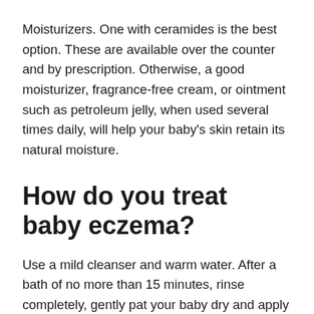Moisturizers. One with ceramides is the best option. These are available over the counter and by prescription. Otherwise, a good moisturizer, fragrance-free cream, or ointment such as petroleum jelly, when used several times daily, will help your baby's skin retain its natural moisture.
How do you treat baby eczema?
Use a mild cleanser and warm water. After a bath of no more than 15 minutes, rinse completely, gently pat your baby dry and apply a fragrance-free cream or ointment such as petroleum jelly (Vaseline), while the skin is still damp. Moisturize at least twice a